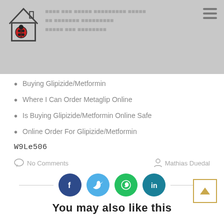Header with logo and navigation
Buying Glipizide/Metformin
Where I Can Order Metaglip Online
Is Buying Glipizide/Metformin Online Safe
Online Order For Glipizide/Metformin
W9Le506
No Comments   Mathias Duedal
[Figure (infographic): Social sharing buttons: Facebook, Twitter, WhatsApp, LinkedIn, with horizontal divider lines on each side]
You may also like this